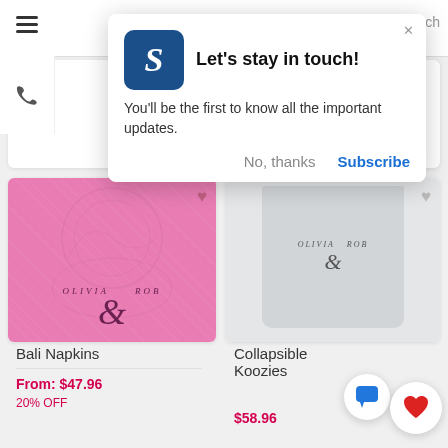[Figure (screenshot): Website navigation bar with hamburger menu icon]
[Figure (infographic): Push notification popup with blue S logo: 'Let's stay in touch! You'll be the first to know all the important updates.' with 'No, thanks' and 'Subscribe' buttons]
[Figure (photo): Pink Bali Napkins product card with OLIVIA & ROB monogram]
Bali Napkins
From: $47.96
[Figure (photo): Collapsible Koozies product card with OLIVIA & ROB monogram]
Collapsible Koozies